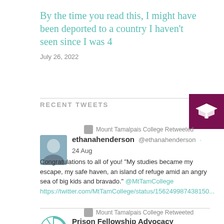By the time you read this, I might have been deported to a country I haven't seen since I was 4
July 26, 2022
RECENT TWEETS
Mount Tamalpais College Retweeted
ethanahenderson @ethanahenderson · 24 Aug
Congratulations to all of you! "My studies became my escape, my safe haven, an island of refuge amid an angry sea of big kids and bravado." @MtTamCollege https://twitter.com/MtTamCollege/status/156249987438150...
Mount Tamalpais College Retweeted
Prison Fellowship Advocacy